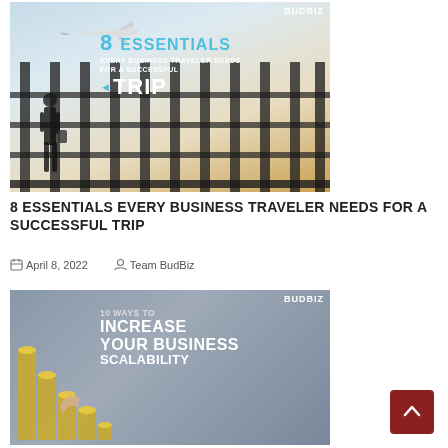[Figure (photo): Business traveler standing at an airport looking at an airplane in the sky, with text overlay: '8 ESSENTIALS EVERY BUSINESS TRAVELER NEEDS FOR A SUCCESSFUL TRIP' and BudBiz logo]
8 ESSENTIALS EVERY BUSINESS TRAVELER NEEDS FOR A SUCCESSFUL TRIP
April 8, 2022   Team BudBiz
[Figure (photo): Person pointing at stacks of coins with text overlay: '10 WAYS TO INCREASE YOUR BUSINESS SCALABILITY' and BudBiz logo]